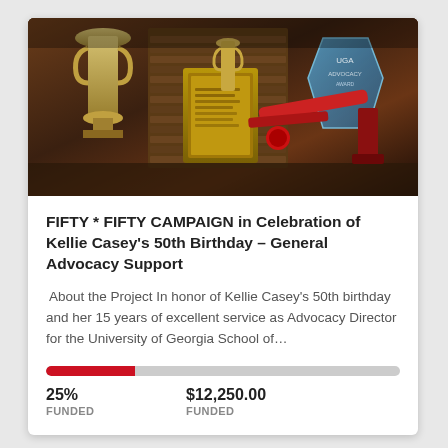[Figure (photo): Photo of trophies, plaques, awards, and crystal awards displayed on a table against a dark background]
FIFTY * FIFTY CAMPAIGN in Celebration of Kellie Casey's 50th Birthday – General Advocacy Support
About the Project In honor of Kellie Casey's 50th birthday and her 15 years of excellent service as Advocacy Director for the University of Georgia School of...
[Figure (infographic): Progress bar showing 25% funded, red fill on grey track]
25% FUNDED   $12,250.00 FUNDED